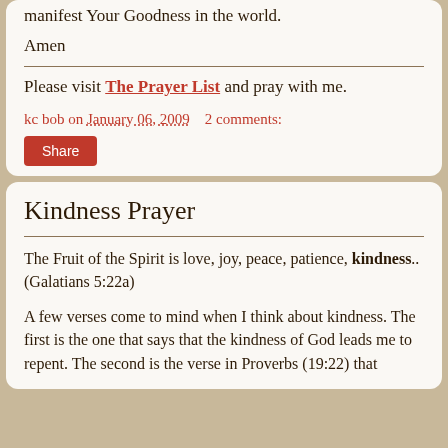manifest Your Goodness in the world.
Amen
Please visit The Prayer List and pray with me.
kc bob on January 06, 2009   2 comments:
Share
Kindness Prayer
The Fruit of the Spirit is love, joy, peace, patience, kindness.. (Galatians 5:22a)
A few verses come to mind when I think about kindness. The first is the one that says that the kindness of God leads me to repent. The second is the verse in Proverbs (19:22) that